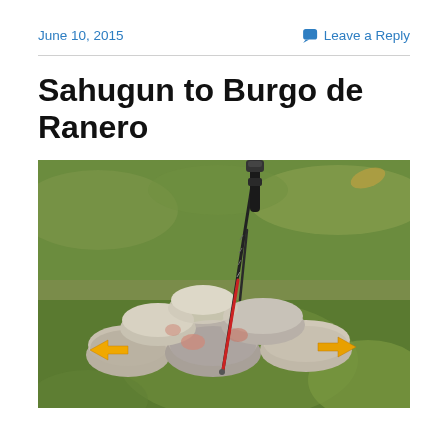June 10, 2015    Leave a Reply
Sahugun to Burgo de Ranero
[Figure (photo): Photo of a hiking pole leaning against a stone cairn/marker with two yellow arrow waymarkers (Camino de Santiago arrows) painted on the rocks, set on green grass]